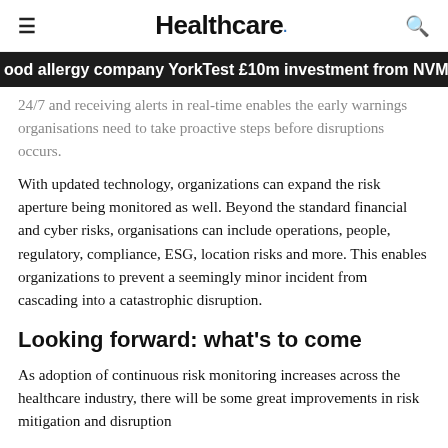Healthcare.
ood allergy company YorkTest £10m investment from NVM
24/7 and receiving alerts in real-time enables the early warnings organisations need to take proactive steps before disruptions occurs.
With updated technology, organizations can expand the risk aperture being monitored as well. Beyond the standard financial and cyber risks, organisations can include operations, people, regulatory, compliance, ESG, location risks and more. This enables organizations to prevent a seemingly minor incident from cascading into a catastrophic disruption.
Looking forward: what's to come
As adoption of continuous risk monitoring increases across the healthcare industry, there will be some great improvements in risk mitigation and disruption avoidance. With increased visibility into the...